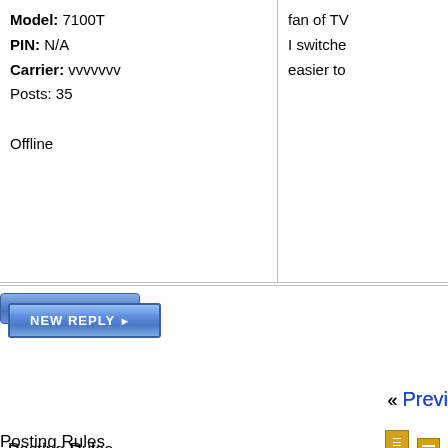Model: 7100T
PIN: N/A
Carrier: vvvvvvv
Posts: 35

Offline
[Figure (screenshot): NEW REPLY button, blue gradient]
« Previ
Posting Rules
You may not post new threads
You may not post replies
You may not post attachments
You may not edit your posts
BB code is On
Smilies are On
[IMG] code is On
HTML code is Off
Forum Rules
Forum